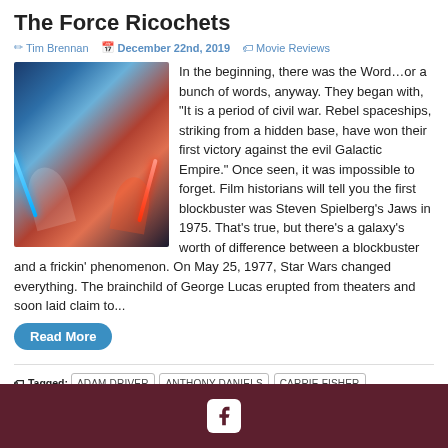The Force Ricochets
Tim Brennan  December 22nd, 2019  Movie Reviews
[Figure (photo): Star Wars: The Rise of Skywalker movie poster showing two figures wielding lightsabers (blue and red) against a dramatic background of blue and red cosmic energy]
In the beginning, there was the Word…or a bunch of words, anyway. They began with, “It is a period of civil war. Rebel spaceships, striking from a hidden base, have won their first victory against the evil Galactic Empire.” Once seen, it was impossible to forget. Film historians will tell you the first blockbuster was Steven Spielberg’s Jaws in 1975. That’s true, but there’s a galaxy’s worth of difference between a blockbuster and a frickin’ phenomenon. On May 25, 1977, Star Wars changed everything. The brainchild of George Lucas erupted from theaters and soon laid claim to...
Read More
Tagged: ADAM DRIVER  ANTHONY DANIELS  CARRIE FISHER  CHRIS TERRIO  DAISY RIDLEY  J. J. ABRAMS  JOHN BOYEGA  MARK HAMILL  OSCAR ISAAC  STAR WARS THE RISE OF SKYWALKER
[Figure (logo): Facebook logo icon in white on dark red/maroon footer bar]